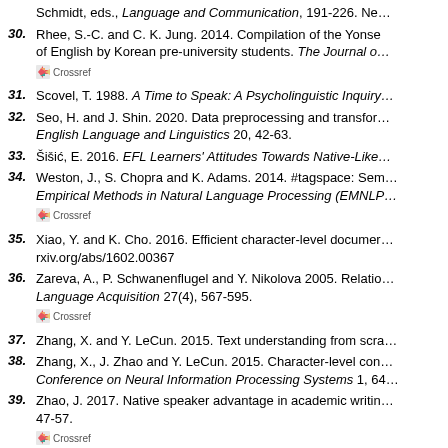30. Rhee, S.-C. and C. K. Jung. 2014. Compilation of the Yonse of English by Korean pre-university students. The Journal o [Crossref]
31. Scovel, T. 1988. A Time to Speak: A Psycholinguistic Inquiry
32. Seo, H. and J. Shin. 2020. Data preprocessing and transfor English Language and Linguistics 20, 42-63.
33. Šišić, E. 2016. EFL Learners' Attitudes Towards Native-Like
34. Weston, J., S. Chopra and K. Adams. 2014. #tagspace: Sem Empirical Methods in Natural Language Processing (EMNLP [Crossref]
35. Xiao, Y. and K. Cho. 2016. Efficient character-level documer rxiv.org/abs/1602.00367
36. Zareva, A., P. Schwanenflugel and Y. Nikolova 2005. Relatio Language Acquisition 27(4), 567-595. [Crossref]
37. Zhang, X. and Y. LeCun. 2015. Text understanding from scra
38. Zhang, X., J. Zhao and Y. LeCun. 2015. Character-level con Conference on Neural Information Processing Systems 1, 64
39. Zhao, J. 2017. Native speaker advantage in academic writin 47-57. [Crossref]